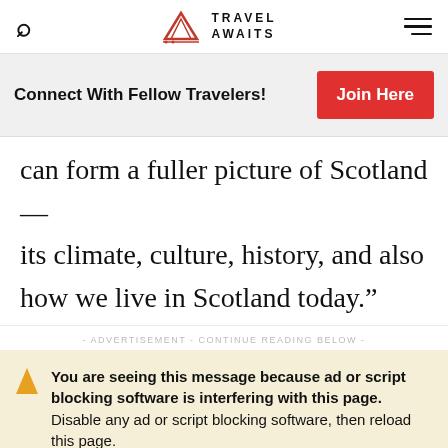Travel Awaits
Connect With Fellow Travelers!
can form a fuller picture of Scotland — its climate, culture, history, and also how we live in Scotland today.”
- ADVERTISEMENT - CONTINUE READING BELOW -
You are seeing this message because ad or script blocking software is interfering with this page. Disable any ad or script blocking software, then reload this page.